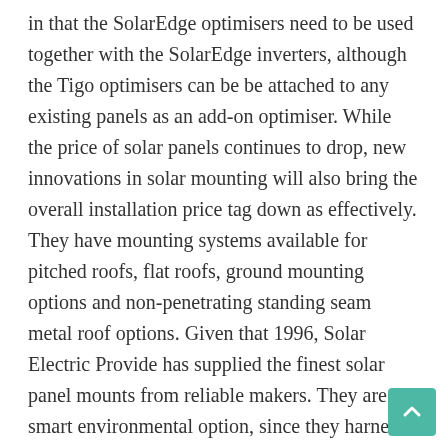in that the SolarEdge optimisers need to be used together with the SolarEdge inverters, although the Tigo optimisers can be be attached to any existing panels as an add-on optimiser. While the price of solar panels continues to drop, new innovations in solar mounting will also bring the overall installation price tag down as effectively. They have mounting systems available for pitched roofs, flat roofs, ground mounting options and non-penetrating standing seam metal roof options. Given that 1996, Solar Electric Provide has supplied the finest solar panel mounts from reliable makers. They are a smart environmental option, since they harness solar energy from the sun and transform it into electricity via solar panels. Pole mounted trackers that support four to 12 PV modules are accessible and typically used for modest stand-alone systems, specifically water pumping applications. Pole mounts can be installed above foliage & snow banks to maintain the panels clear of debris. Therefore, a lot of the incident sunlight energy is wasted by solar modules, and they can give far larger